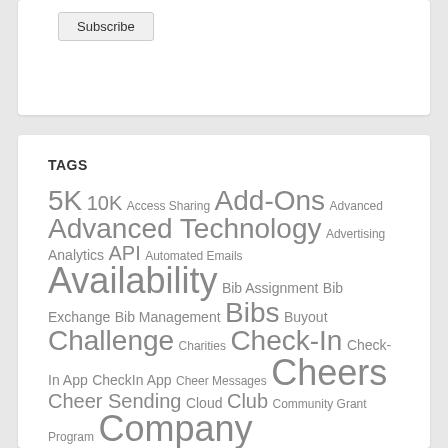Subscribe
TAGS
5K 10K Access Sharing Add-Ons Advanced Advanced Technology Advertising Analytics API Automated Emails Availability Bib Assignment Bib Exchange Bib Management Bibs Buyout Challenge Charities Check-In Check-In App CheckIn App Cheer Messages Cheers Cheer Sending Cloud Club Community Grant Program Company Coronavirus Corporate Team Race Corporate Teams Coupons Course Map Cover Pages CRM Customer Case Studies